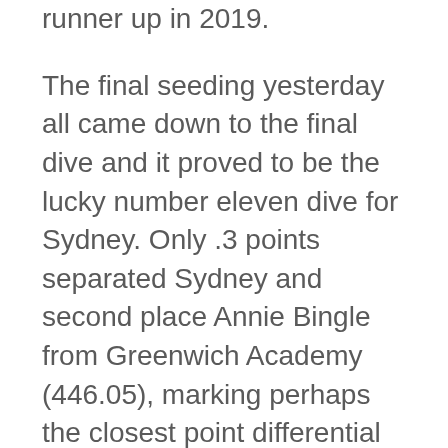runner up in 2019.
The final seeding yesterday all came down to the final dive and it proved to be the lucky number eleven dive for Sydney. Only .3 points separated Sydney and second place Annie Bingle from Greenwich Academy (446.05), marking perhaps the closest point differential in the history of the NEPSAA DI Diving Championship.
All Deerfield divers placed during the competition, Laurent Mitchell '22 earned a tenth place finish, Mady Sofer '20 placed 16th and Morgan Clough '20 was 29th overall.
With all of these top finishes, the Deerfield